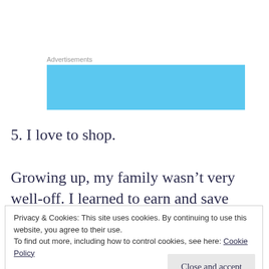Advertisements
[Figure (other): Blue advertisement banner placeholder]
5. I love to shop.
Growing up, my family wasn’t very well-off. I learned to earn and save money at a very
Privacy & Cookies: This site uses cookies. By continuing to use this website, you agree to their use.
To find out more, including how to control cookies, see here: Cookie Policy
Close and accept